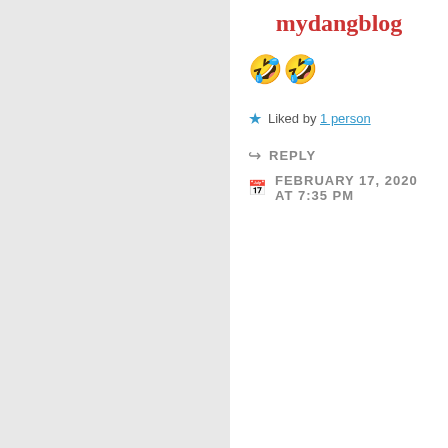mydangblog
🤣🤣
★ Liked by 1 person
↪ REPLY
FEBRUARY 17, 2020 AT 7:35 PM
[Figure (illustration): Purple diamond gem avatar icon with gray circular border]
pirootb
Santa looks tired, alright....but you look like you are sliding off his lap, as if his costume is made of silk.
And I do exactly the same thing about my workplace